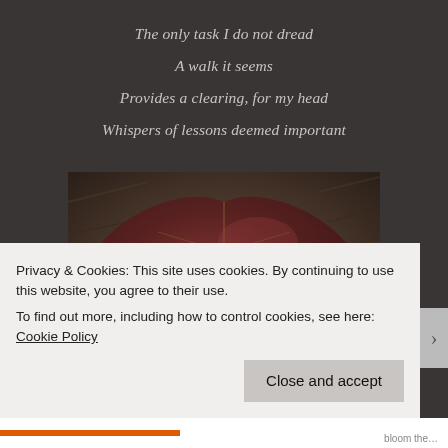The only task I do not dread
A walk it seems
Provides a clearing, for my head
Whispers of lessons deemed important
[Figure (photo): Close-up photograph of a large dark reddish-brown autumn leaf lying on the ground among mulch, twigs, and soil.]
Privacy & Cookies: This site uses cookies. By continuing to use this website, you agree to their use.
To find out more, including how to control cookies, see here: Cookie Policy
Close and accept